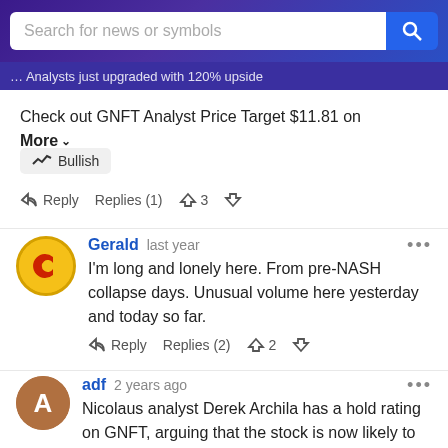Search for news or symbols
Analysts just upgraded with 120% upside
Check out GNFT Analyst Price Target $11.81 on
More
Bullish
Reply   Replies (1)   3
Gerald  last year
I'm long and lonely here. From pre-NASH collapse days. Unusual volume here yesterday and today so far.
Reply   Replies (2)   2
adf  2 years ago
Nicolaus analyst Derek Archila has a hold rating on GNFT, arguing that the stock is now likely to remain range bound until management provides an update